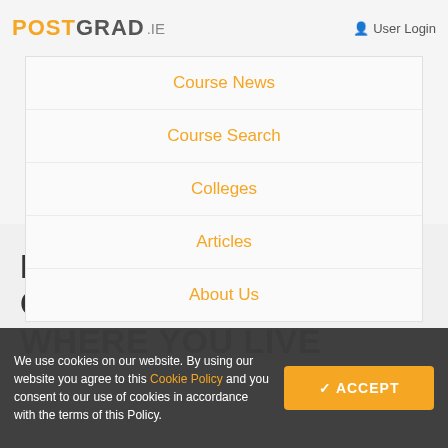POSTGRAD.ie | User Login
Course News
Course Search
Colleges
Articles
About Us
POSTGRADUATE COURSES WHERE YOU LIVE
We use cookies on our website. By using our website you agree to this Cookie Policy and you consent to our use of cookies in accordance with the terms of this Policy.